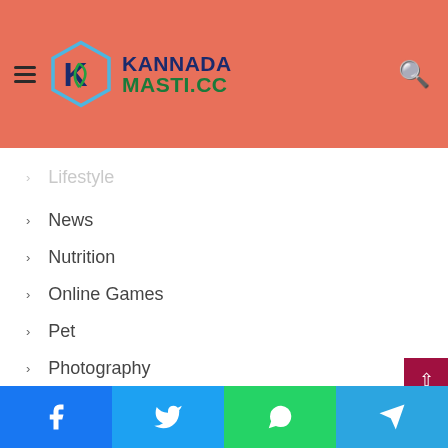Kannada Masti .CC — site header with logo and navigation menu
Lifestyle
News
Nutrition
Online Games
Pet
Photography
Product
Religion
Social Media
Sports
Style
Social share buttons: Facebook, Twitter, WhatsApp, Telegram